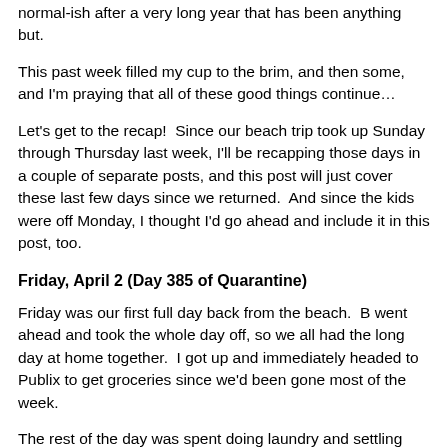normal-ish after a very long year that has been anything but.
This past week filled my cup to the brim, and then some, and I'm praying that all of these good things continue…
Let's get to the recap!  Since our beach trip took up Sunday through Thursday last week, I'll be recapping those days in a couple of separate posts, and this post will just cover these last few days since we returned.  And since the kids were off Monday, I thought I'd go ahead and include it in this post, too.
Friday, April 2 (Day 385 of Quarantine)
Friday was our first full day back from the beach.  B went ahead and took the whole day off, so we all had the long day at home together.  I got up and immediately headed to Publix to get groceries since we'd been gone most of the week.
The rest of the day was spent doing laundry and settling back in after our vacay, and I squeezed in a run in the early afternoon while B played soccer with the kids in the back yard.  The weather was incredible, and we've reached the